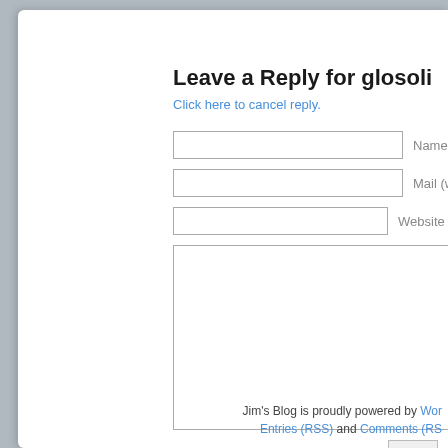Leave a Reply for glosoli
Click here to cancel reply.
Name (required)
Mail (will not be published)
Website
Jim's Blog is proudly powered by WordPress. Entries (RSS) and Comments (RSS).